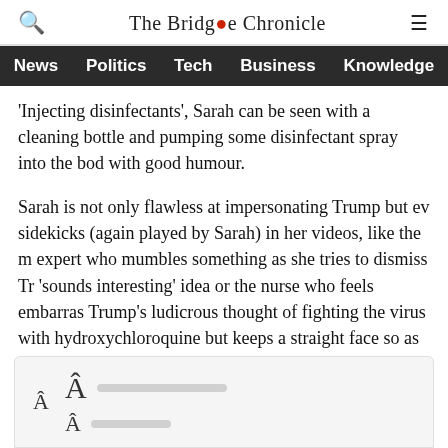The Bridge Chronicle
News | Politics | Tech | Business | Knowledge
'Injecting disinfectants', Sarah can be seen with a cleaning bottle and pumping some disinfectant spray into the body with good humour.
Sarah is not only flawless at impersonating Trump but even sidekicks (again played by Sarah) in her videos, like the medical expert who mumbles something as she tries to dismiss Trump's 'sounds interesting' idea or the nurse who feels embarrassed by Trump's ludicrous thought of fighting the virus with hydroxychloroquine but keeps a straight face so as to not offend him, are great comedic performances too.
[Figure (other): Font size controls UI element with large and small letter A icons and slider bars]